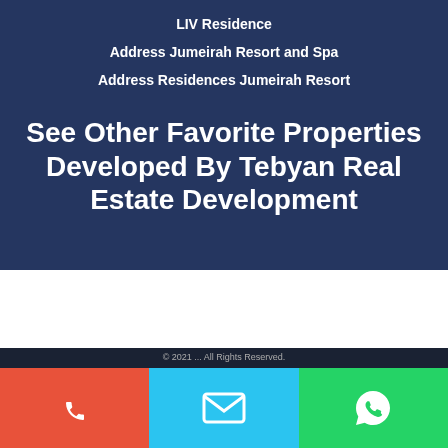LIV Residence
Address Jumeirah Resort and Spa
Address Residences Jumeirah Resort
See Other Favorite Properties Developed By Tebyan Real Estate Development
[Figure (infographic): Three contact buttons at the bottom: phone (orange/red), email (light blue), WhatsApp (green), each with white icon]
© 2021 ... All Rights Reserved.